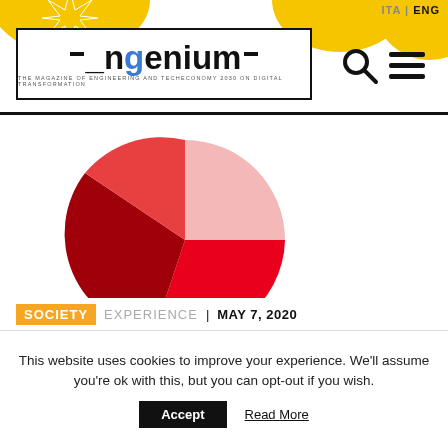ingenium - THE MAGAZINE OF ENGINEERING AND TECHECONOMY 2030 ON DIGITAL TRANSFORMATION | ITA | ENG
[Figure (pie-chart): A pie chart with four slices in shades of red and pink: light pink (upper right, ~30%), crimson/dark red (left, ~25%), red (lower center, ~25%), bright red (lower right, ~20%).]
SOCIETY   EXPERIENCE   | MAY 7, 2020
This website uses cookies to improve your experience. We'll assume you're ok with this, but you can opt-out if you wish.
Accept   Read More